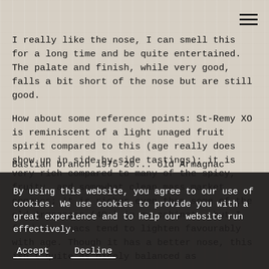I really like the nose, I can smell this for a long time and be quite entertained. The palate and finish, while very good, falls a bit short of the nose but are still good.
How about some reference points: St-Remy XO is reminiscent of a light unaged fruit spirit compared to this (age really does show up in side-by-side tastings); it is very rich compared to many of the spicy, fruity, and somewhat clean mass market cognacs; it is richer even than some of the old Armagnacs (40+) in my cabinet – but I find Armagnacs tend to lighten favourably with age. Though it has a better nose, this isn't quite as nicely balanced as Bastian branch 1975-20... old Armagnac which but
By using this website, you agree to our use of cookies. We use cookies to provide you with a great experience and to help our website run effectively.
Accept    Decline